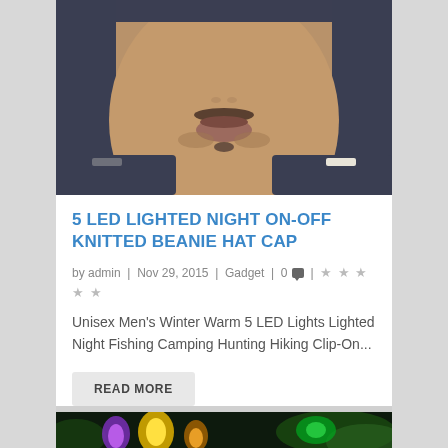[Figure (photo): Cropped photo of a man's lower face showing mustache and stubble, wearing a dark shirt and beanie hat]
5 LED LIGHTED NIGHT ON-OFF KNITTED BEANIE HAT CAP
by admin | Nov 29, 2015 | Gadget | 0 💬 | ★★★★★
Unisex Men's Winter Warm 5 LED Lights Lighted Night Fishing Camping Hunting Hiking Clip-On...
READ MORE
[Figure (photo): Partial bottom photo showing colorful glowing lights (yellow, purple, green) against a dark background with green foliage]